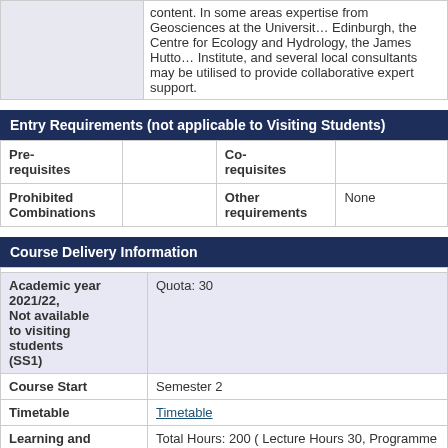|  | content. In some areas expertise from Geosciences at the University of Edinburgh, the Centre for Ecology and Hydrology, the James Hutton Institute, and several local consultants may be utilised to provide collaborative expert support. |
Entry Requirements (not applicable to Visiting Students)
| Pre-requisites |  | Co-requisites |  |
| Prohibited Combinations |  | Other requirements | None |
Course Delivery Information
| Academic year 2021/22, Not available to visiting students (SS1) | Quota:  30 |
| Course Start | Semester 2 |
| Timetable | Timetable |
| Learning and Teaching activities (Further Info) | Total Hours: 200 ( Lecture Hours 30, Programme Level Learning and Teaching Hours 4, Directed Learning and Independent Learning Hours 166 ) |
| Assessment | Written Exam 0 %, Coursework 100 %, Practical Exam 0 % |